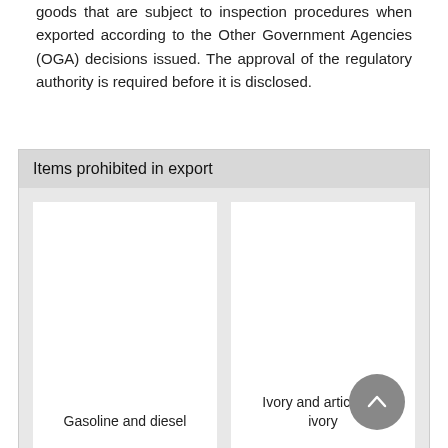goods that are subject to inspection procedures when exported according to the Other Government Agencies (OGA) decisions issued. The approval of the regulatory authority is required before it is disclosed.
Items prohibited in export
[Figure (other): Two white cards side by side on a grey background. Left card labeled 'Gasoline and diesel', right card labeled 'Ivory and articles of ivory'. A circular grey scroll-to-top button overlaps the bottom-right of the right card.]